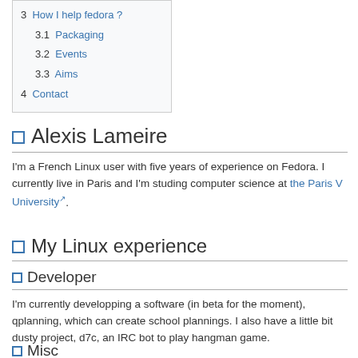3 How I help fedora ?
3.1 Packaging
3.2 Events
3.3 Aims
4 Contact
Alexis Lameire
I'm a French Linux user with five years of experience on Fedora. I currently live in Paris and I'm studing computer science at the Paris V University.
My Linux experience
Developer
I'm currently developping a software (in beta for the moment), qplanning, which can create school plannings. I also have a little bit dusty project, d7c, an IRC bot to play hangman game.
Misc